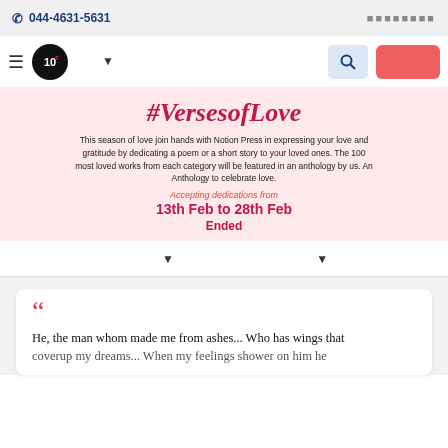044-4631-5631
[Figure (logo): 10F logo circle with navigation bar including hamburger menu, language selector, search button, and CTA button]
[Figure (infographic): #VersesofLove banner on pink background with hearts and clouds. Text: This season of love join hands with Notion Press in expressing your love and gratitude by dedicating a poem or a short story to your loved ones. The 100 most loved works from each category will be featured in an anthology by us. An Anthology to celebrate love. Accepting dedications from 13th Feb to 28th Feb. Ended.]
Accepting dedications from 13th Feb to 28th Feb Ended
He, the man whom made me from ashes... Who has wings that coverup my dreams... When my feelings shower on him he